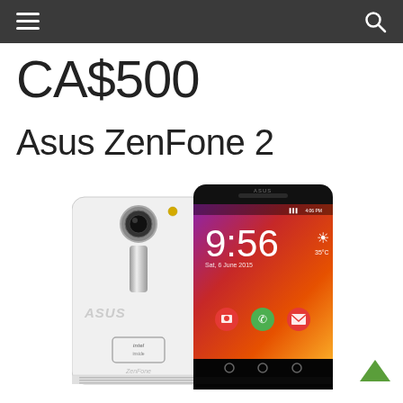Navigation bar with hamburger menu and search icon
CA$500
Asus ZenFone 2
[Figure (photo): Product photo of Asus ZenFone 2 smartphone showing both the white back panel and the front display with colorful wallpaper showing time 9:56]